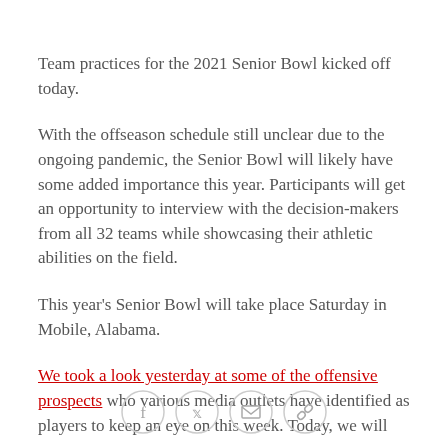Team practices for the 2021 Senior Bowl kicked off today.
With the offseason schedule still unclear due to the ongoing pandemic, the Senior Bowl will likely have some added importance this year. Participants will get an opportunity to interview with the decision-makers from all 32 teams while showcasing their athletic abilities on the field.
This year's Senior Bowl will take place Saturday in Mobile, Alabama.
We took a look yesterday at some of the offensive prospects who various media outlets have identified as players to keep an eye on this week. Today, we will
[Figure (other): Social sharing icons: Facebook, Twitter, Email, Link]